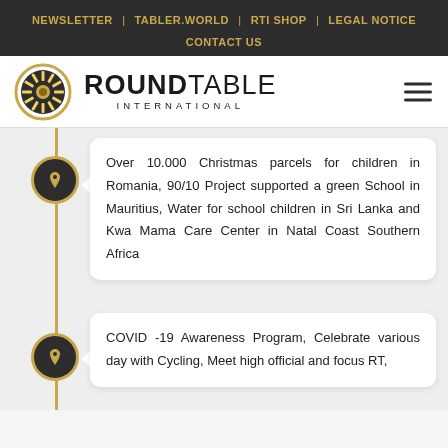NEWSLETTER | TABLER.WORLD | RTI SHOP | LEGAL NOTICE | CONTACT US
[Figure (logo): Round Table International logo with circular sunburst emblem and text ROUNDTABLE INTERNATIONAL]
Over 10.000 Christmas parcels for children in Romania, 90/10 Project supported a green School in Mauritius, Water for school children in Sri Lanka and Kwa Mama Care Center in Natal Coast Southern Africa
COVID -19 Awareness Program, Celebrate various day with Cycling, Meet high official and focus RT,